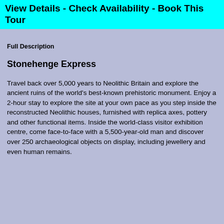View Details - Check Availability - Book This Tour
Full Description
Stonehenge Express
Travel back over 5,000 years to Neolithic Britain and explore the ancient ruins of the world's best-known prehistoric monument. Enjoy a 2-hour stay to explore the site at your own pace as you step inside the reconstructed Neolithic houses, furnished with replica axes, pottery and other functional items. Inside the world-class visitor exhibition centre, come face-to-face with a 5,500-year-old man and discover over 250 archaeological objects on display, including jewellery and even human remains.